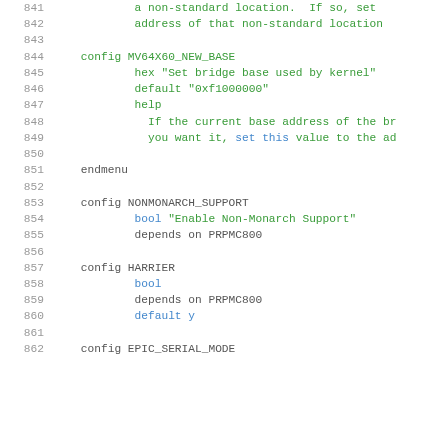841-862: source code listing (Kconfig file)
841     a non-standard location.  If so, set
842         address of that non-standard location
843
844 config MV64X60_NEW_BASE
845         hex "Set bridge base used by kernel"
846         default "0xf1000000"
847         help
848           If the current base address of the br
849           you want it, set this value to the ad
850
851 endmenu
852
853 config NONMONARCH_SUPPORT
854         bool "Enable Non-Monarch Support"
855         depends on PRPMC800
856
857 config HARRIER
858         bool
859         depends on PRPMC800
860         default y
861
862 config EPIC_SERIAL_MODE